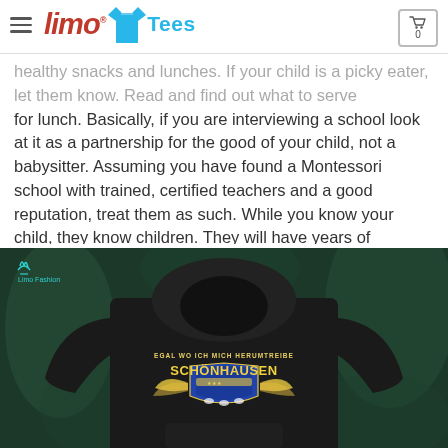Limo Tees — navigation bar with hamburger menu, logo, and cart (0)
healthy snacks and lunches. If your child is a picky eater, let them know. Read and find out what to serve for lunch. Basically, if you are interviewing a school look at it as a partnership for the good of your child, not a babysitter. Assuming you have found a Montessori school with trained, certified teachers and a good reputation, treat them as such. While you know your child, they know children. They will have years of experience to back up their expectations. Work with it. Good luck.
[Figure (photo): Dark green background with a black hoodie on a mannequin. The hoodie has a graphic on the chest reading 'EGAL WO ICH MICH HERUMTREIBE' above 'SCHÖNHAUSEN' in large gold letters with a shield/crest logo and wings. A teal 'Limo Fashion' watermark appears in the top-left corner of the image.]